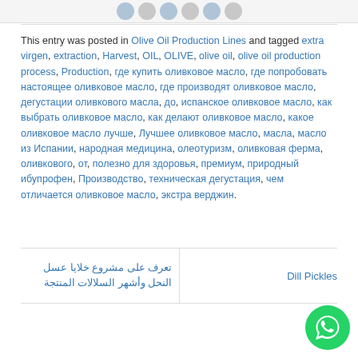[Figure (other): Row of circular avatar icons at the top]
This entry was posted in Olive Oil Production Lines and tagged extra virgen, extraction, Harvest, OIL, OLIVE, olive oil, olive oil production process, Production, где купить оливковое масло, где попробовать настоящее оливковое масло, где производят оливковое масло, дегустации оливкового масла, до, испанское оливковое масло, как выбрать оливковое масло, как делают оливковое масло, какое оливковое масло лучше, Лучшее оливковое масло, масла, масло из Испании, народная медицина, олеотуризм, оливковая ферма, оливкового, от, полезно для здоровья, премиум, природный ибупрофен, Производство, техническая дегустация, чем отличается оливковое масло, экстра верджин.
تعرف على مشروع خلايا عسل النحل وأشهر السلالات المنتجة
Dill Pickles
[Figure (logo): WhatsApp icon button in bottom right corner]